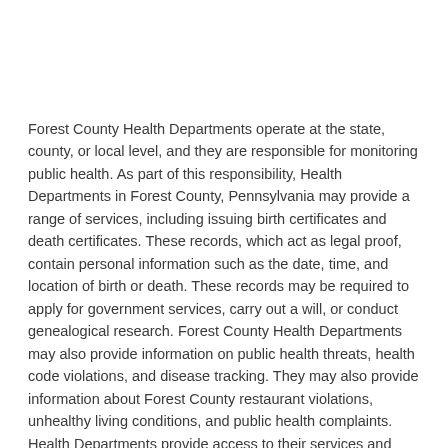Forest County Health Departments operate at the state, county, or local level, and they are responsible for monitoring public health. As part of this responsibility, Health Departments in Forest County, Pennsylvania may provide a range of services, including issuing birth certificates and death certificates. These records, which act as legal proof, contain personal information such as the date, time, and location of birth or death. These records may be required to apply for government services, carry out a will, or conduct genealogical research. Forest County Health Departments may also provide information on public health threats, health code violations, and disease tracking. They may also provide information about Forest County restaurant violations, unhealthy living conditions, and public health complaints. Health Departments provide access to their services and documents on their website.
Forest County State Health Center
Tionesta, PA